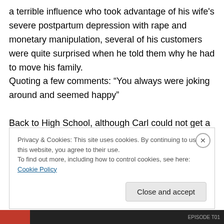a terrible influence who took advantage of his wife's severe postpartum depression with rape and monetary manipulation, several of his customers were quite surprised when he told them why he had to move his family.
Quoting a few comments: “You always were joking around and seemed happy”

Back to High School, although Carl could not get a date (according to Carl, in part he still felt very insecure due to the past ridicule, as well he was frankly rather socially
Privacy & Cookies: This site uses cookies. By continuing to use this website, you agree to their use.
To find out more, including how to control cookies, see here: Cookie Policy
Close and accept